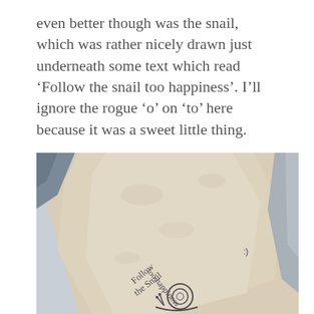even better though was the snail, which was rather nicely drawn just underneath some text which read ‘Follow the snail too happiness’. I’ll ignore the rogue ‘o’ on ‘to’ here because it was a sweet little thing.
[Figure (photo): A photograph of a rough stone or concrete surface with handwritten text in pencil or pen reading 'Follow the snail too happiness' with a simple drawing of a snail below it.]